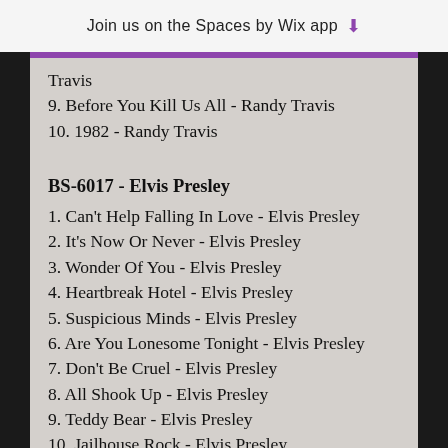Join us on the Spaces by Wix app
Travis
9. Before You Kill Us All - Randy Travis
10. 1982 - Randy Travis
BS-6017 - Elvis Presley
1. Can't Help Falling In Love - Elvis Presley
2. It's Now Or Never - Elvis Presley
3. Wonder Of You - Elvis Presley
4. Heartbreak Hotel - Elvis Presley
5. Suspicious Minds - Elvis Presley
6. Are You Lonesome Tonight - Elvis Presley
7. Don't Be Cruel - Elvis Presley
8. All Shook Up - Elvis Presley
9. Teddy Bear - Elvis Presley
10. Jailhouse Rock - Elvis Presley